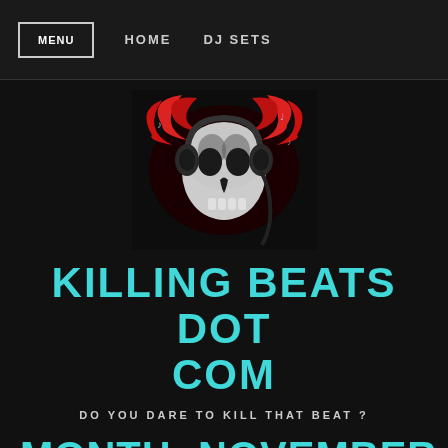MENU  HOME  DJ SETS
[Figure (illustration): Skull wearing DJ headphones with red abstract wings/flames on dark background — website logo image]
KILLING BEATS DOT COM
DO YOU DARE TO KILL THAT BEAT ?
MONTH: NOVEMBER 2018